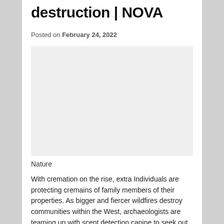destruction | NOVA
Posted on February 24, 2022
[Figure (photo): Image placeholder area, appears blank/empty]
Nature
With cremation on the rise, extra Individuals are protecting cremains of family members of their properties. As bigger and fiercer wildfires destroy communities within the West, archaeologists are teaming up with scent detection canine to seek out ashes among the many ashes.